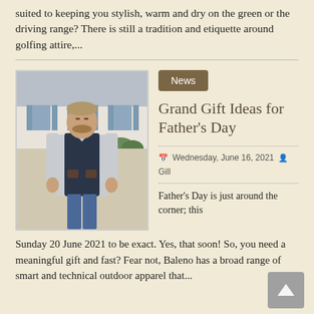suited to keeping you stylish, warm and dry on the green or the driving range? There is still a tradition and etiquette around golfing attire,...
[Figure (photo): Man wearing a navy gilet/vest over a light shirt, standing in front of a French-style building with blue shutters]
News
Grand Gift Ideas for Father's Day
Wednesday, June 16, 2021   Gill
Father's Day is just around the corner; this Sunday 20 June 2021 to be exact. Yes, that soon! So, you need a meaningful gift and fast? Fear not, Baleno has a broad range of smart and technical outdoor apparel that...